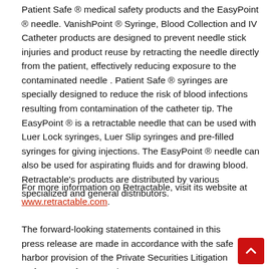Patient Safe ® medical safety products and the EasyPoint ® needle. VanishPoint ® Syringe, Blood Collection and IV Catheter products are designed to prevent needle stick injuries and product reuse by retracting the needle directly from the patient, effectively reducing exposure to the contaminated needle . Patient Safe ® syringes are specially designed to reduce the risk of blood infections resulting from contamination of the catheter tip. The EasyPoint ® is a retractable needle that can be used with Luer Lock syringes, Luer Slip syringes and pre-filled syringes for giving injections. The EasyPoint ® needle can also be used for aspirating fluids and for drawing blood. Retractable's products are distributed by various specialized and general distributors.
For more information on Retractable, visit its website at www.retractable.com.
The forward-looking statements contained in this press release are made in accordance with the safe harbor provision of the Private Securities Litigation Reform Act of 1995 and...